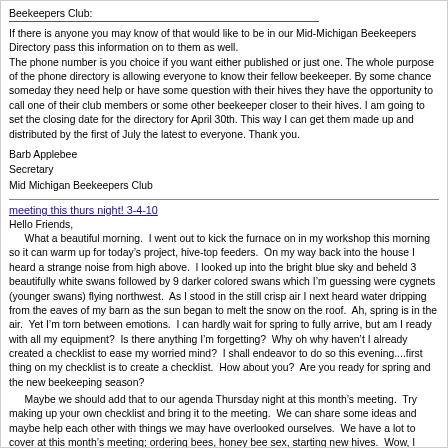Beekeepers Club:
If there is anyone you may know of that would like to be in our Mid-Michigan Beekeepers Directory pass this information on to them as well.
The phone number is you choice if you want either published or just one. The whole purpose of the phone directory is allowing everyone to know their fellow beekeeper. By some chance someday they need help or have some question with their hives they have the opportunity to call one of their club members or some other beekeeper closer to their hives. I am going to set the closing date for the directory for April 30th. This way I can get them made up and distributed by the first of July the latest to everyone. Thank you.
Barb Applebee
Secretary
Mid Michigan Beekeepers Club
meeting this thurs night! 3-4-10
Hello Friends,
What a beautiful morning.  I went out to kick the furnace on in my workshop this morning so it can warm up for today’s project, hive-top feeders.  On my way back into the house I heard a strange noise from high above.  I looked up into the bright blue sky and beheld 3 beautifully white swans followed by 9 darker colored swans which I’m guessing were cygnets (younger swans) flying northwest.  As I stood in the still crisp air I next heard water dripping from the eaves of my barn as the sun began to melt the snow on the roof.  Ah, spring is in the air.  Yet I’m torn between emotions.  I can hardly wait for spring to fully arrive, but am I ready with all my equipment?  Is there anything I’m forgetting?  Why oh why haven’t I already created a checklist to ease my worried mind?  I shall endeavor to do so this evening....first thing on my checklist is to create a checklist.  How about you?  Are you ready for spring and the new beekeeping season?
Maybe we should add that to our agenda Thursday night at this month’s meeting.  Try making up your own checklist and bring it to the meeting.  We can share some ideas and maybe help each other with things we may have overlooked ourselves.  We have a lot to cover at this month’s meeting; ordering bees, honey bee sex, starting new hives.  Wow, I shall have to find a way to be succinct....I hear you laughing.
Finally, I will have pre-registration forms for this month’s ANR beekeeping conference. Last year the lines went down the hall of the Kellogg Center.  You may save yourself some standing time in a long line by pre-registering.